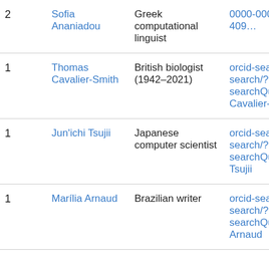|  | Name | Description | Link |
| --- | --- | --- | --- |
| 2 | Sofia Ananiadou | Greek computational linguist | 0000-0002-409… |
| 1 | Thomas Cavalier-Smith | British biologist (1942–2021) | orcid-search/qu search/?searchQuery=T Cavalier-Smith |
| 1 | Jun'ichi Tsujii | Japanese computer scientist | orcid-search/qu search/?searchQuery=J Tsujii |
| 1 | Marília Arnaud | Brazilian writer | orcid-search/qu search/?searchQuery=M Arnaud |